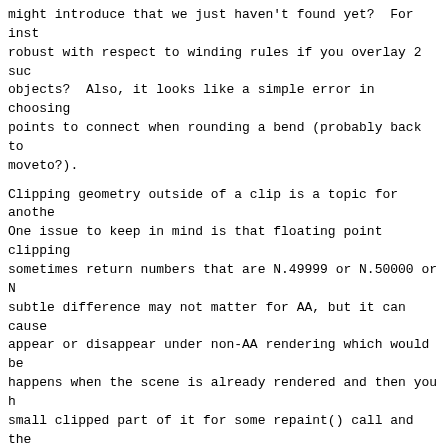might introduce that we just haven't found yet?  For inst
robust with respect to winding rules if you overlay 2 suc
objects?  Also, it looks like a simple error in choosing
points to connect when rounding a bend (probably back to
moveto?).
Clipping geometry outside of a clip is a topic for anothe
One issue to keep in mind is that floating point clipping
sometimes return numbers that are N.49999 or N.50000 or N
subtle difference may not matter for AA, but it can cause
appear or disappear under non-AA rendering which would be
happens when the scene is already rendered and then you h
small clipped part of it for some repaint() call and the
out different during that update due to the clipping math
typically only cull/clip items when I am down to the bott
can directly know how the equations are going to relate t
numbers that are used to choose pixels.
...jim
On 8/10/2010 6:42 AM, Denis Lila wrote:
> Hi Jim.
>
>> What was the problem - I might have a guess as to the
>> picture.  You should file a bug against it to make sur
>> through the cracks.
>     I can confirm that none of my changes introduced h
> with a truly fresh build of openjdk7. I've attached 3 s
> results.
>